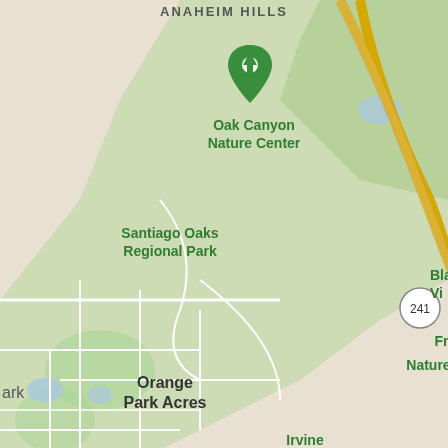[Figure (map): Google Maps screenshot showing area around Anaheim Hills, California. Visible labels include Anaheim Hills, Oak Canyon Nature Center (with green map pin), Santiago Oaks Regional Park, Orange Park Acres, Irvine Regional Pk, Fremont Canyon Nature Preserve (with green map pin), route 241 highway in yellow, Bla[ck] Vi[lla] (partially visible), Modena, and Oak Canyon (partially visible).]
[Figure (screenshot): Dark rounded rectangle button with white bold text reading 'Click here to apply']
[Figure (photo): Partial photo visible at bottom of page showing a person with dark hair in a dark indoor setting]